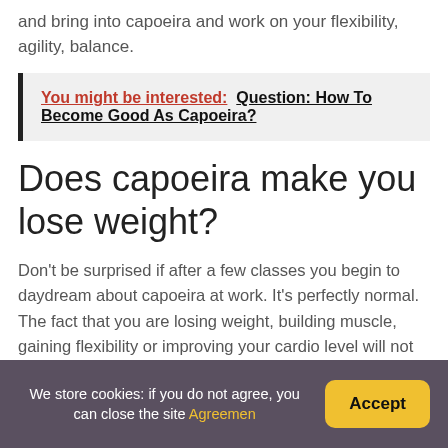and bring into capoeira and work on your flexibility, agility, balance.
You might be interested:  Question: How To Become Good As Capoeira?
Does capoeira make you lose weight?
Don’t be surprised if after a few classes you begin to daydream about capoeira at work. It’s perfectly normal. The fact that you are losing weight, building muscle, gaining flexibility or improving your cardio level will not be on your mind.
We store cookies: if you do not agree, you can close the site Agreemen  Accept